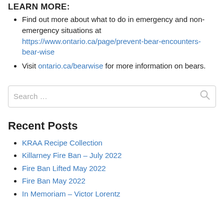LEARN MORE:
Find out more about what to do in emergency and non-emergency situations at https://www.ontario.ca/page/prevent-bear-encounters-bear-wise
Visit ontario.ca/bearwise for more information on bears.
Search …
Recent Posts
KRAA Recipe Collection
Killarney Fire Ban – July 2022
Fire Ban Lifted May 2022
Fire Ban May 2022
In Memoriam – Victor Lorentz